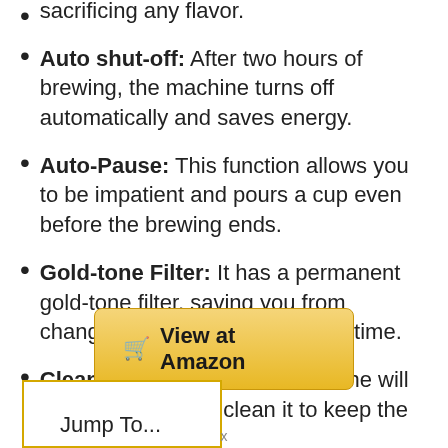sacrificing any flavor.
Auto shut-off: After two hours of brewing, the machine turns off automatically and saves energy.
Auto-Pause: This function allows you to be impatient and pours a cup even before the brewing ends.
Gold-tone Filter: It has a permanent gold-tone filter, saving you from changing paper filters time after time.
Cleaning Indicator: The machine will notify you when to clean it to keep the taste excellent.
[Figure (other): Button labeled 'View at Amazon' with a shopping cart icon, styled with a golden yellow gradient background]
Jump To...